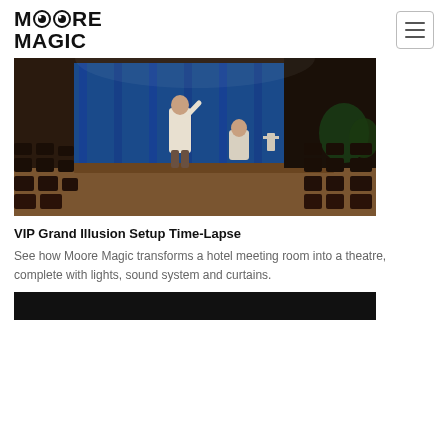Moore Magic
[Figure (photo): Time-lapse photo of two people setting up a stage in a hotel meeting room with a large blue curtain, theatrical lighting, and rows of dark chairs]
VIP Grand Illusion Setup Time-Lapse
See how Moore Magic transforms a hotel meeting room into a theatre, complete with lights, sound system and curtains.
[Figure (photo): Partial view of another image, appears dark/black, at bottom of page]